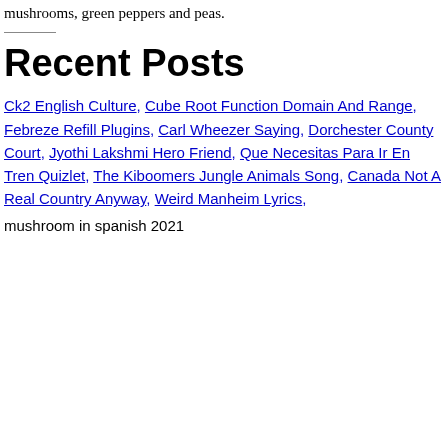mushrooms, green peppers and peas.
Recent Posts
Ck2 English Culture, Cube Root Function Domain And Range, Febreze Refill Plugins, Carl Wheezer Saying, Dorchester County Court, Jyothi Lakshmi Hero Friend, Que Necesitas Para Ir En Tren Quizlet, The Kiboomers Jungle Animals Song, Canada Not A Real Country Anyway, Weird Manheim Lyrics,
mushroom in spanish 2021